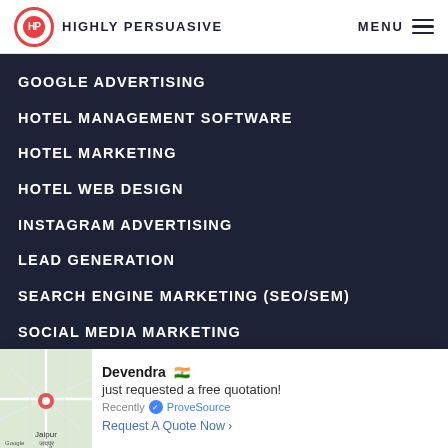HIGHLY PERSUASIVE | MENU
GOOGLE ADVERTISING
HOTEL MANAGEMENT SOFTWARE
HOTEL MARKETING
HOTEL WEB DESIGN
INSTAGRAM ADVERTISING
LEAD GENERATION
SEARCH ENGINE MARKETING (SEO/SEM)
SOCIAL MEDIA MARKETING
VIDEO PRODUCTION
Devendra 🇮🇳 just requested a free quotation! Recently ✓ ProveSource Request A Quote Now >